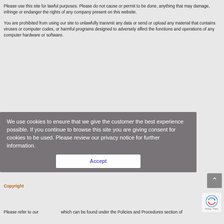Please use this site for lawful purposes. Please do not cause or permit to be done, anything that may damage, infringe or endanger the rights of any company present on this website.
You are prohibited from using our site to unlawfully transmit any data or send or upload any material that contains viruses or computer codes, or harmful programs designed to adversely affect the functions and operations of any computer hardware or software.
We use cookies to ensure that we give the customer the best experience possible. If you continue to browse this site you are giving consent for cookies to be used. Please review our privacy notice for further information.
Accept
Copyright
Please refer to our which can be found under the Policies and Procedures section of